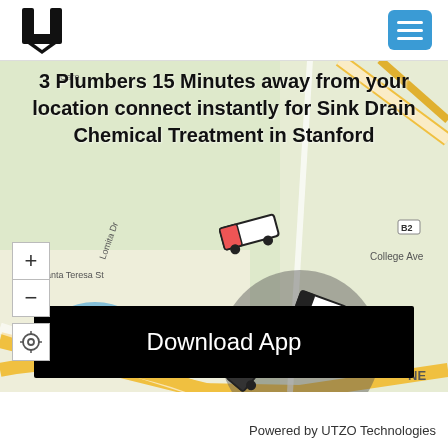[Figure (logo): UTZO U-shaped logo in black]
[Figure (screenshot): Map of Stanford area showing plumber service locations with truck icons and a gray circular radius overlay]
3 Plumbers 15 Minutes away from your location connect instantly for Sink Drain Chemical Treatment in Stanford
Download App
Powered by UTZO Technologies